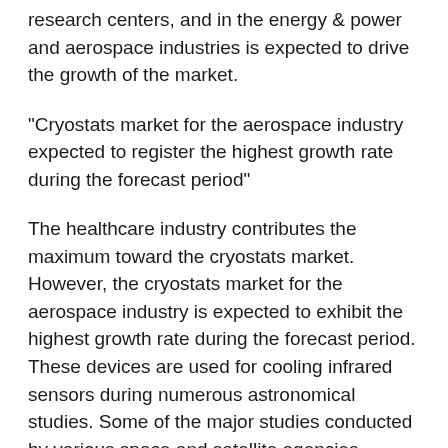research centers, and in the energy & power and aerospace industries is expected to drive the growth of the market.
"Cryostats market for the aerospace industry expected to register the highest growth rate during the forecast period"
The healthcare industry contributes the maximum toward the cryostats market. However, the cryostats market for the aerospace industry is expected to exhibit the highest growth rate during the forecast period. These devices are used for cooling infrared sensors during numerous astronomical studies. Some of the major studies conducted by various space and satellite agencies include space